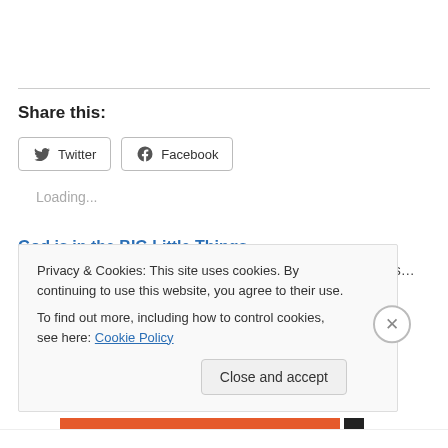Share this:
[Figure (other): Twitter and Facebook social sharing buttons]
Loading...
God is in the BIG Little Things
When I was in the seventh grade, I read a story in Guideposts…
Privacy & Cookies: This site uses cookies. By continuing to use this website, you agree to their use.
To find out more, including how to control cookies, see here: Cookie Policy
Close and accept